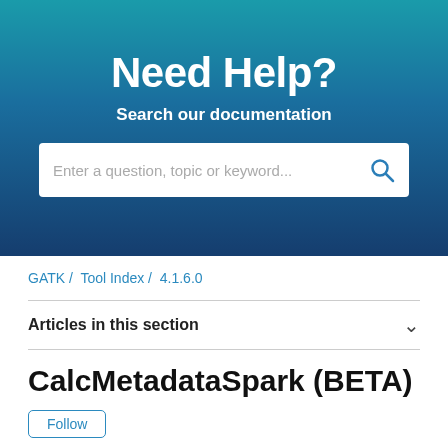Need Help?
Search our documentation
Enter a question, topic or keyword...
GATK / Tool Index / 4.1.6.0
Articles in this section
CalcMetadataSpark (BETA)
Follow